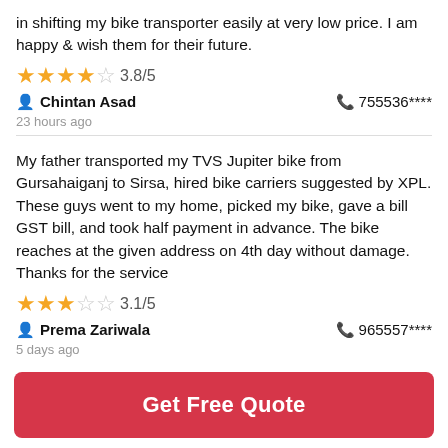in shifting my bike transporter easily at very low price. I am happy & wish them for their future.
3.8/5
by Chintan Asad   755536****
23 hours ago
My father transported my TVS Jupiter bike from Gursahaiganj to Sirsa, hired bike carriers suggested by XPL. These guys went to my home, picked my bike, gave a bill GST bill, and took half payment in advance. The bike reaches at the given address on 4th day without damage. Thanks for the service
3.1/5
by Prema Zariwala   965557****
5 days ago
Get Free Quote